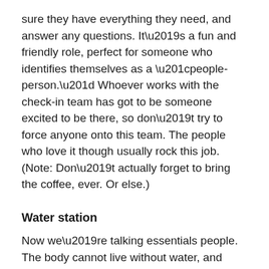sure they have everything they need, and answer any questions. It’s a fun and friendly role, perfect for someone who identifies themselves as a “people-person.” Whoever works with the check-in team has got to be someone excited to be there, so don’t try to force anyone onto this team. The people who love it though usually rock this job. (Note: Don’t actually forget to bring the coffee, ever. Or else.)
Water station
Now we’re talking essentials people. The body cannot live without water, and runners will be glad to see a water station as they round the corner. Volunteers in this station will hand out water (Note: If volunteers holding cups from the bottom it’s easier for runners to grab it in a hurry), pick up and throw away the discarded cups, and cheer on the runners. Not only